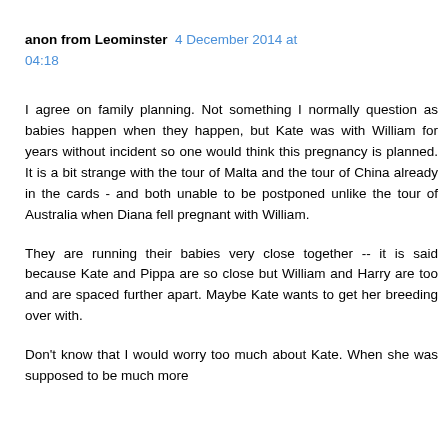anon from Leominster  4 December 2014 at 04:18
I agree on family planning. Not something I normally question as babies happen when they happen, but Kate was with William for years without incident so one would think this pregnancy is planned. It is a bit strange with the tour of Malta and the tour of China already in the cards - and both unable to be postponed unlike the tour of Australia when Diana fell pregnant with William.
They are running their babies very close together -- it is said because Kate and Pippa are so close but William and Harry are too and are spaced further apart. Maybe Kate wants to get her breeding over with.
Don't know that I would worry too much about Kate. When she was supposed to be much more